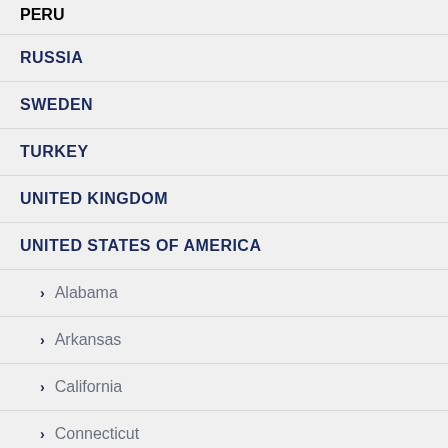PERU
RUSSIA
SWEDEN
TURKEY
UNITED KINGDOM
UNITED STATES OF AMERICA
Alabama
Arkansas
California
Connecticut
Delaware